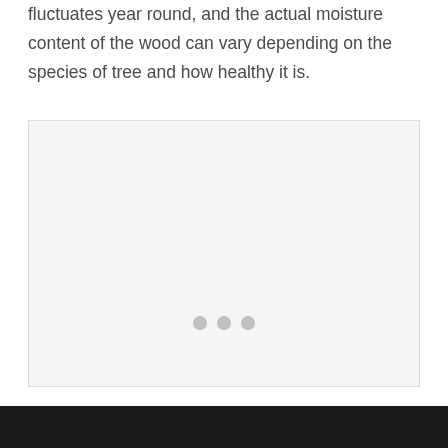fluctuates year round, and the actual moisture content of the wood can vary depending on the species of tree and how healthy it is.
[Figure (other): A light gray placeholder image box with three gray dots centered near the bottom, indicating an image carousel or loading state.]